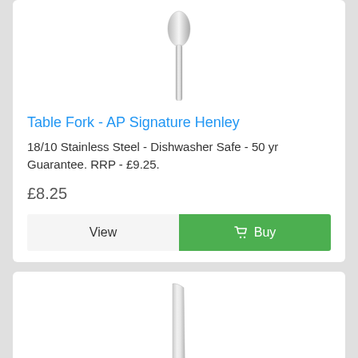[Figure (photo): Product photo of a stainless steel table fork, shown vertically centered, chrome/silver finish, bottom portion visible]
Table Fork - AP Signature Henley
18/10 Stainless Steel - Dishwasher Safe - 50 yr Guarantee. RRP - £9.25.
£8.25
View
Buy
[Figure (photo): Product photo of a stainless steel table knife, shown vertically, chrome/silver finish, blade visible with slight branding mark]